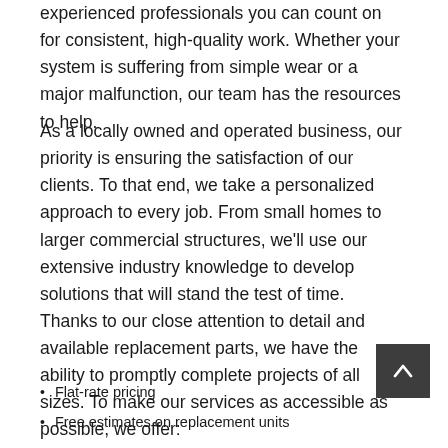experienced professionals you can count on for consistent, high-quality work. Whether your system is suffering from simple wear or a major malfunction, our team has the resources to help.
As a locally owned and operated business, our priority is ensuring the satisfaction of our clients. To that end, we take a personalized approach to every job. From small homes to larger commercial structures, we'll use our extensive industry knowledge to develop solutions that will stand the test of time. Thanks to our close attention to detail and available replacement parts, we have the ability to promptly complete projects of all sizes. To make our services as accessible as possible, we offer:
Flat-rate pricing
Free estimates on replacement units